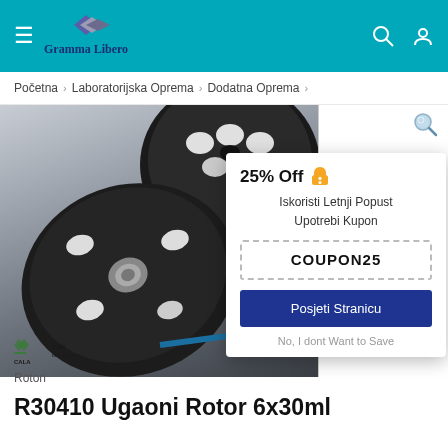[Figure (screenshot): Website header with teal background, hamburger menu icon on left, Gramma Libero logo in center with diamond/gem graphic, search and user icons on right]
Početna > Laboratorijska Oprema > Dodatna Oprema
[Figure (photo): Product photo of centrifuge rotors (R30410 Ugaoni Rotor 6x30ml) - black circular rotors with white caps, CALA lab experts logo visible]
25% Off
Iskoristi Letnji Popust
Upotrebi Kupon
COUPON25
Posjeti Stranicu
No, I dont Want to Save
Rotori
R30410 Ugaoni Rotor 6x30ml